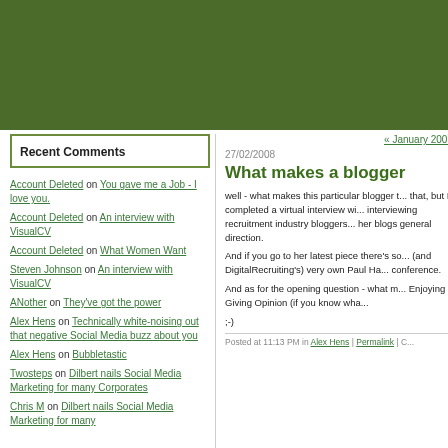[Figure (other): Dark green header banner background]
Recent Comments
Account Deleted on You gave me a Job - I love you.
Account Deleted on An interview with VisualCV
Account Deleted on What Women Want
Steven Johnson on An interview with VisualCV
ANother on They've got the power
Alex Hens on Technically white-noising out that negative Social Media buzz about you
Alex Hens on Bubbletastic
Twosteps on Dilbert nails Social Media Marketing for many Corporates
Chris M on Dilbert nails Social Media Marketing for many
« January 2008
27/02/2008
What makes a blogger
well - what makes this particular blogger t... that, but I completed a virtual interview wi... interviewing recruitment industry bloggers... her blogs general direction.
And if you go to her latest piece there's so... (and DigitalRecruiting's) very own Paul Ha... conference.
And as for the opening question - what m... Enjoying Giving Opinion (if you know wha...
;-)
Posted at 11:13 PM in Alex Hens | Permalink | C...